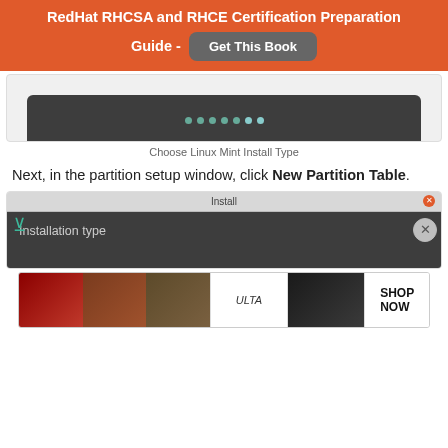RedHat RHCSA and RHCE Certification Preparation Guide - Get This Book
[Figure (screenshot): Dark rounded screenshot showing dots/pagination indicator at bottom]
Choose Linux Mint Install Type
Next, in the partition setup window, click New Partition Table.
[Figure (screenshot): Install window screenshot showing 'Installation type' header bar on dark background]
[Figure (photo): ULTA beauty advertisement banner with makeup imagery and SHOP NOW button]